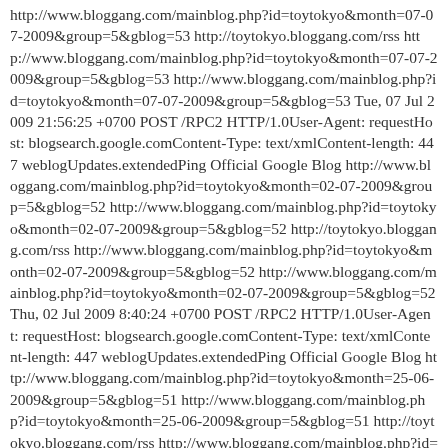http://www.bloggang.com/mainblog.php?id=toytokyo&month=07-07-2009&group=5&gblog=53 http://toytokyo.bloggang.com/rss http://www.bloggang.com/mainblog.php?id=toytokyo&month=07-07-2009&group=5&gblog=53 http://www.bloggang.com/mainblog.php?id=toytokyo&month=07-07-2009&group=5&gblog=53 Tue, 07 Jul 2009 21:56:25 +0700 POST /RPC2 HTTP/1.0User-Agent: requestHost: blogsearch.google.comContent-Type: text/xmlContent-length: 447 weblogUpdates.extendedPing Official Google Blog http://www.bloggang.com/mainblog.php?id=toytokyo&month=02-07-2009&group=5&gblog=52 http://www.bloggang.com/mainblog.php?id=toytokyo&month=02-07-2009&group=5&gblog=52 http://toytokyo.bloggang.com/rss http://www.bloggang.com/mainblog.php?id=toytokyo&month=02-07-2009&group=5&gblog=52 http://www.bloggang.com/mainblog.php?id=toytokyo&month=02-07-2009&group=5&gblog=52 Thu, 02 Jul 2009 8:40:24 +0700 POST /RPC2 HTTP/1.0User-Agent: requestHost: blogsearch.google.comContent-Type: text/xmlContent-length: 447 weblogUpdates.extendedPing Official Google Blog http://www.bloggang.com/mainblog.php?id=toytokyo&month=25-06-2009&group=5&gblog=51 http://www.bloggang.com/mainblog.php?id=toytokyo&month=25-06-2009&group=5&gblog=51 http://toytokyo.bloggang.com/rss http://www.bloggang.com/mainblog.php?id=toytokyo&month=25-